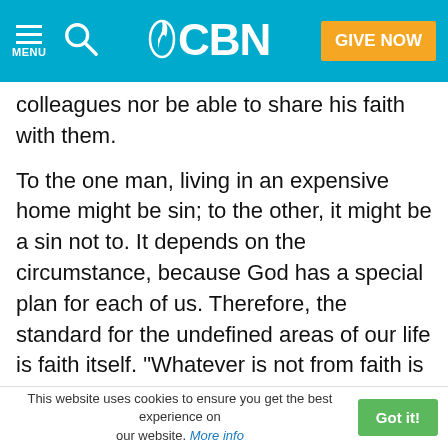CBN — MENU | Search | GIVE NOW
colleagues nor be able to share his faith with them.
To the one man, living in an expensive home might be sin; to the other, it might be a sin not to. It depends on the circumstance, because God has a special plan for each of us. Therefore, the standard for the undefined areas of our life is faith itself. "Whatever is not from faith is sin" (Romans 14:23).
We should copy Jesus and not necessarily one another.
The Bible says,
"There is none who does good, no, not one"
This website uses cookies to ensure you get the best experience on our website. More info   Got it!